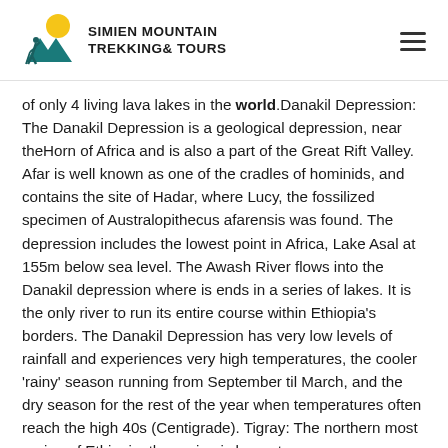SIMIEN MOUNTAIN TREKKING& TOURS
of only 4 living lava lakes in the world.Danakil Depression: The Danakil Depression is a geological depression, near theHorn of Africa and is also a part of the Great Rift Valley. Afar is well known as one of the cradles of hominids, and contains the site of Hadar, where Lucy, the fossilized specimen of Australopithecus afarensis was found. The depression includes the lowest point in Africa, Lake Asal at 155m below sea level. The Awash River flows into the Danakil depression where is ends in a series of lakes. It is the only river to run its entire course within Ethiopia's borders. The Danakil Depression has very low levels of rainfall and experiences very high temperatures, the cooler 'rainy' season running from September til March, and the dry season for the rest of the year when temperatures often reach the high 40s (Centigrade). Tigray: The northern most region of Ethiopia, the region is home to